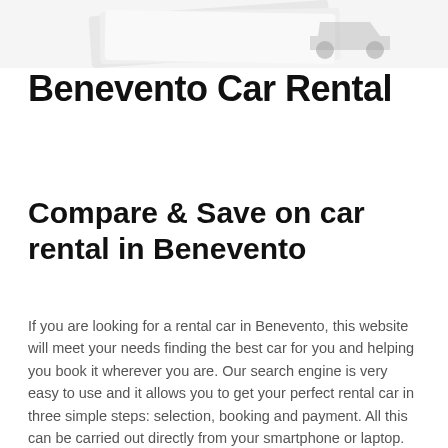[Figure (photo): Top portion of a car rental promotional image showing stacked cards/papers with a car partially visible]
Benevento Car Rental
Compare & Save on car rental in Benevento
If you are looking for a rental car in Benevento, this website will meet your needs finding the best car for you and helping you book it wherever you are. Our search engine is very easy to use and it allows you to get your perfect rental car in three simple steps: selection, booking and payment. All this can be carried out directly from your smartphone or laptop. Renting a car in Benevento will allow you to move from one place to another very fast and to explore some of the historical and artistic treasures of this city.